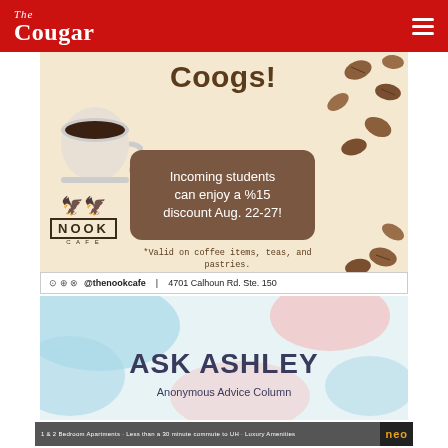The Cougar
[Figure (illustration): Nook Cafe advertisement. Beige background with scattered coffee beans, a coffee cup, bold text 'Coogs!', a brown rounded box saying 'Incoming students can enjoy a %15 discount Aug. 22-27!', fine print '*Valid on coffee items, teas, and pastries.', Nook Cafe logo, social media icons, @thenookcafe, 4701 Calhoun Rd. Ste. 150]
[Figure (illustration): Ask Ashley Anonymous Advice Column advertisement with pastel blue and pink blob shapes on light blue background, bold dark text 'ASK ASHLEY' and subtitle 'Anonymous Advice Column']
[Figure (photo): NEO apartments banner ad showing people and apartments. Text: '1 & 2 Bedroom Apartments - Less than a 30 minute commute to UH - Luxury Amenities' with NEO logo on right]